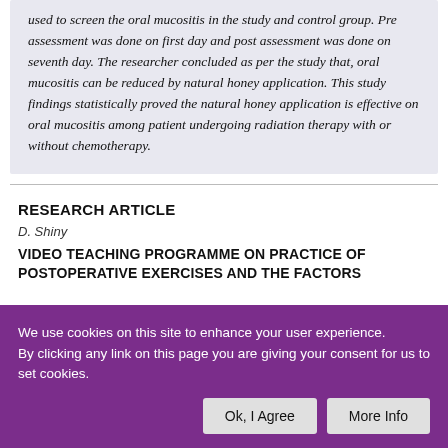used to screen the oral mucositis in the study and control group. Pre assessment was done on first day and post assessment was done on seventh day. The researcher concluded as per the study that, oral mucositis can be reduced by natural honey application. This study findings statistically proved the natural honey application is effective on oral mucositis among patient undergoing radiation therapy with or without chemotherapy.
RESEARCH ARTICLE
D. Shiny
VIDEO TEACHING PROGRAMME ON PRACTICE OF POSTOPERATIVE EXERCISES AND THE FACTORS
We use cookies on this site to enhance your user experience. By clicking any link on this page you are giving your consent for us to set cookies.